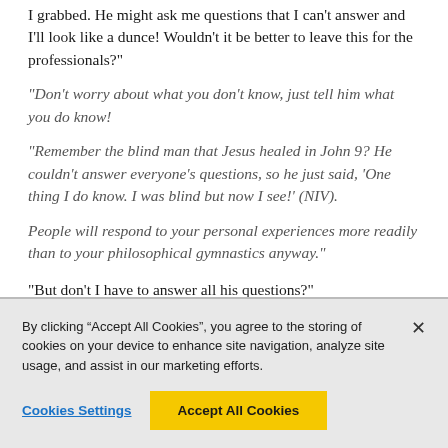I grabbed. He might ask me questions that I can't answer and I'll look like a dunce! Wouldn't it be better to leave this for the professionals?"
"Don't worry about what you don't know, just tell him what you do know!
"Remember the blind man that Jesus healed in John 9? He couldn't answer everyone's questions, so he just said, 'One thing I do know. I was blind but now I see!' (NIV).
People will respond to your personal experiences more readily than to your philosophical gymnastics anyway."
"But don't I have to answer all his questions?"
By clicking “Accept All Cookies”, you agree to the storing of cookies on your device to enhance site navigation, analyze site usage, and assist in our marketing efforts.